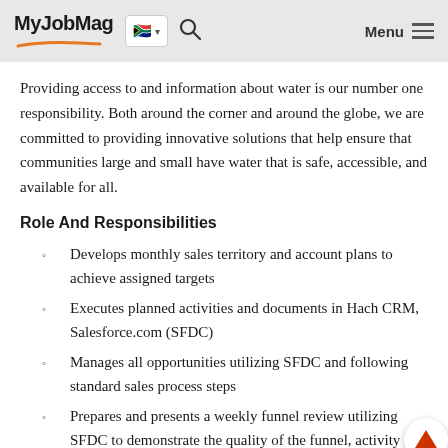MyJobMag [South Africa flag] [search] Menu
Providing access to and information about water is our number one responsibility. Both around the corner and around the globe, we are committed to providing innovative solutions that help ensure that communities large and small have water that is safe, accessible, and available for all.
Role And Responsibilities
Develops monthly sales territory and account plans to achieve assigned targets
Executes planned activities and documents in Hach CRM, Salesforce.com (SFDC)
Manages all opportunities utilizing SFDC and following standard sales process steps
Prepares and presents a weekly funnel review utilizing SFDC to demonstrate the quality of the funnel, activity